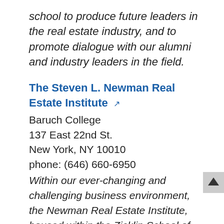school to produce future leaders in the real estate industry, and to promote dialogue with our alumni and industry leaders in the field.
The Steven L. Newman Real Estate Institute
Baruch College
137 East 22nd St.
New York, NY 10010
phone: (646) 660-6950
Within our ever-changing and challenging business environment, the Newman Real Estate Institute, housed within the Zicklin School of Business and Baruch College at CUNY, provides applied research, professional and continuing